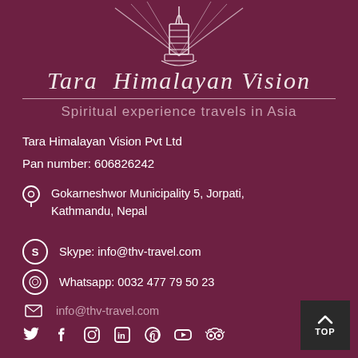[Figure (logo): Tara Himalayan Vision logo with stupa/tower illustration and radiating lines at top]
Tara Himalayan Vision
Spiritual experience travels in Asia
Tara Himalayan Vision Pvt Ltd
Pan number: 606826242
Gokarneshwor Municipality 5, Jorpati, Kathmandu, Nepal
Skype: info@thv-travel.com
Whatsapp: 0032 477 79 50 23
info@thv-travel.com
[Figure (infographic): Social media icons row: Twitter, Facebook, Instagram, LinkedIn, Pinterest, YouTube, TripAdvisor]